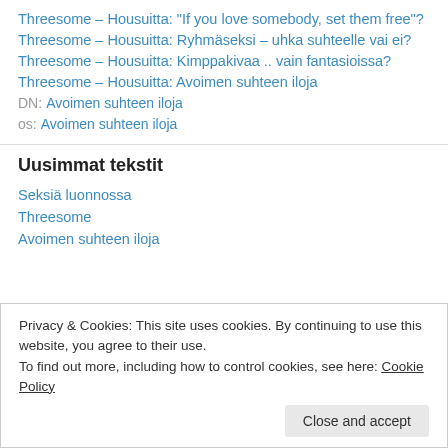Threesome – Housuitta: "If you love somebody, set them free"?
Threesome – Housuitta: Ryhmäseksi – uhka suhteelle vai ei?
Threesome – Housuitta: Kimppakivaa .. vain fantasioissa?
Threesome – Housuitta: Avoimen suhteen iloja
DN: Avoimen suhteen iloja
os: Avoimen suhteen iloja
Uusimmat tekstit
Seksiä luonnossa
Threesome
Avoimen suhteen iloja
Privacy & Cookies: This site uses cookies. By continuing to use this website, you agree to their use.
To find out more, including how to control cookies, see here: Cookie Policy